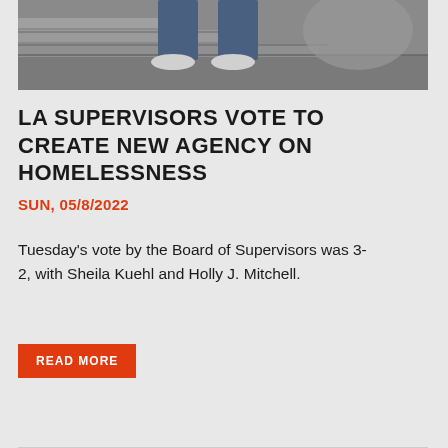[Figure (photo): Person sitting on concrete steps wearing jeans and white sneakers, viewed from the waist down]
LA SUPERVISORS VOTE TO CREATE NEW AGENCY ON HOMELESSNESS
SUN, 05/8/2022
Tuesday's vote by the Board of Supervisors was 3-2, with Sheila Kuehl and Holly J. Mitchell.
READ MORE